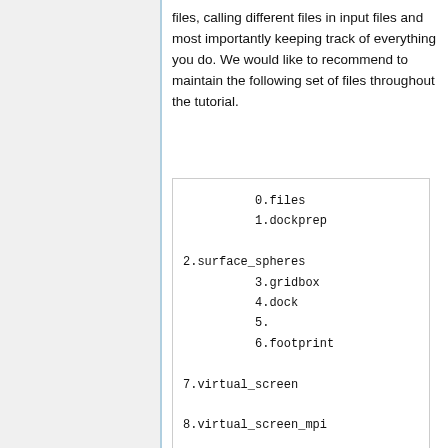files, calling different files in input files and most importantly keeping track of everything you do. We would like to recommend to maintain the following set of files throughout the tutorial.
[Figure (other): A code/text box listing numbered directory/file names: 0.files, 1.dockprep, 2.surface_spheres, 3.gridbox, 4.dock, 5., 6.footprint, 7.virtual_screen, 8.virtual_screen_mpi, 9.cartesianmin, 10.rescore]